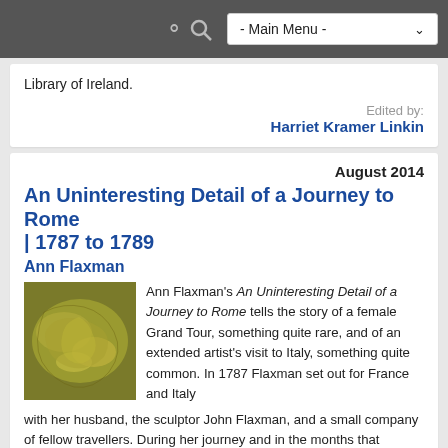- Main Menu -
Library of Ireland.
Edited by:
Harriet Kramer Linkin
August 2014
An Uninteresting Detail of a Journey to Rome | 1787 to 1789
Ann Flaxman
[Figure (map): A historical map showing a region of Europe/Italy in olive green and yellow tones]
Ann Flaxman's An Uninteresting Detail of a Journey to Rome tells the story of a female Grand Tour, something quite rare, and of an extended artist's visit to Italy, something quite common. In 1787 Flaxman set out for France and Italy with her husband, the sculptor John Flaxman, and a small company of fellow travellers. During her journey and in the months that followed her arrival in Rome, Flaxman kept a